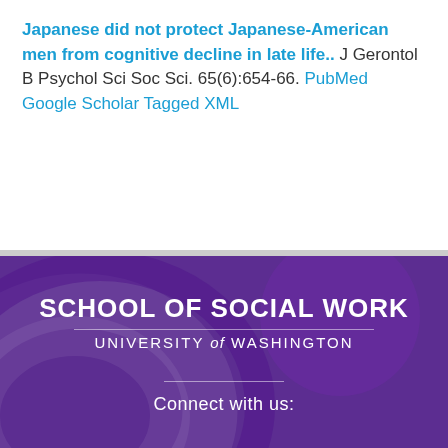Japanese did not protect Japanese-American men from cognitive decline in late life.. J Gerontol B Psychol Sci Soc Sci. 65(6):654-66. PubMed Google Scholar Tagged XML
[Figure (logo): University of Washington School of Social Work logo on purple background with decorative arc design, text reads SCHOOL OF SOCIAL WORK, UNIVERSITY of WASHINGTON]
Connect with us: